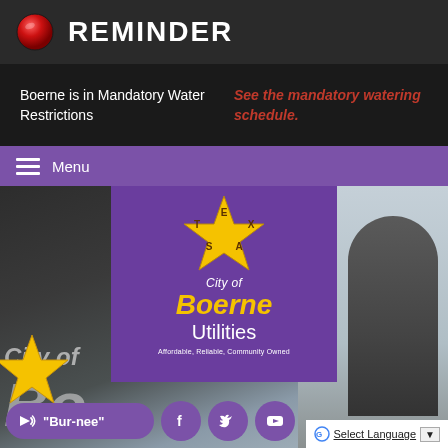REMINDER
Boerne is in Mandatory Water Restrictions
See the mandatory watering schedule.
Menu
[Figure (logo): City of Boerne Utilities logo on purple background with gold Texas star. Text: City of Boerne Utilities. Affordable, Reliable, Community Owned.]
[Figure (photo): Background photo of City of Boerne water tower/tank with 'City of' and partial 'Bo' text visible]
"Bur-nee"
Select Language